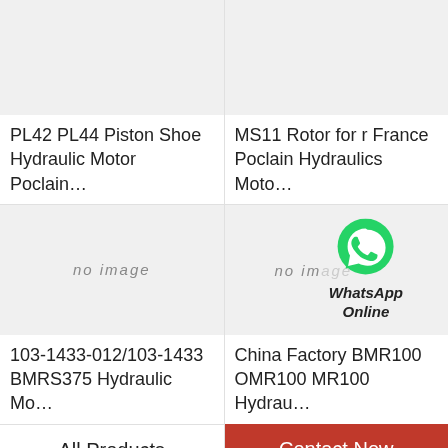[Figure (photo): Product image placeholder (light gray box) for PL42 PL44 Piston Shoe Hydraulic Motor Poclain]
PL42 PL44 Piston Shoe Hydraulic Motor Poclain…
[Figure (photo): Product image placeholder (light gray box) for MS11 Rotor for r France Poclain Hydraulics Moto]
MS11 Rotor for r France Poclain Hydraulics Moto…
[Figure (photo): No image placeholder for 103-1433-012/103-1433 BMRS375 Hydraulic Motor]
103-1433-012/103-1433 BMRS375 Hydraulic Mo…
[Figure (photo): No image placeholder with WhatsApp Online chat icon overlay for China Factory BMR100 OMR100 MR100 Hydraulic Motor]
China Factory BMR100 OMR100 MR100 Hydrau…
All Products
Contact Now